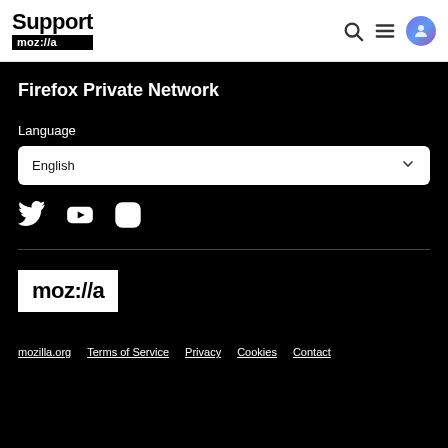Support mozilla
Firefox Private Network
Language
English
[Figure (infographic): Social media icons: Twitter, YouTube, Instagram]
[Figure (logo): Mozilla logo: white text on white background box reading moz://a]
mozilla.org  Terms of Service  Privacy  Cookies  Contact